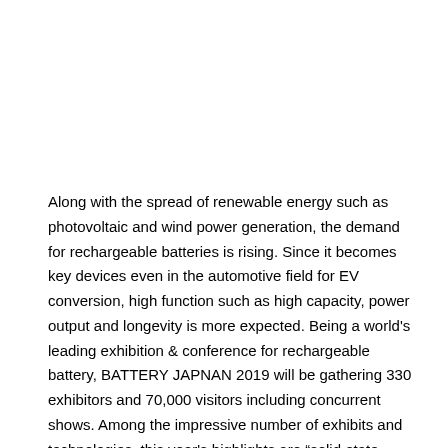Along with the spread of renewable energy such as photovoltaic and wind power generation, the demand for rechargeable batteries is rising. Since it becomes key devices even in the automotive field for EV conversion, high function such as high capacity, power output and longevity is more expected. Being a world's leading exhibition & conference for rechargeable battery, BATTERY JAPNAN 2019 will be gathering 330 exhibitors and 70,000 visitors including concurrent shows. Among the impressive number of exhibits and technologies, this year's highlights are “solid-state battery” and “EV development technology”.